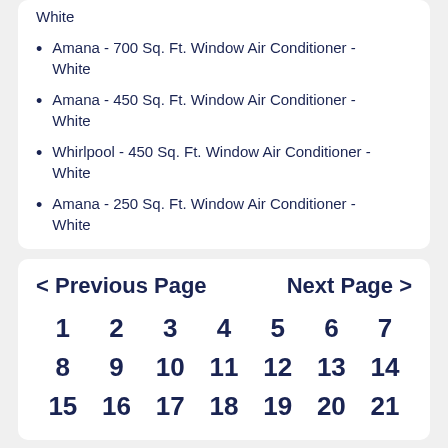White
Amana - 700 Sq. Ft. Window Air Conditioner - White
Amana - 450 Sq. Ft. Window Air Conditioner - White
Whirlpool - 450 Sq. Ft. Window Air Conditioner - White
Amana - 250 Sq. Ft. Window Air Conditioner - White
< Previous Page   Next Page >
1  2  3  4  5  6  7
8  9  10  11  12  13  14
15  16  17  18  19  20  21